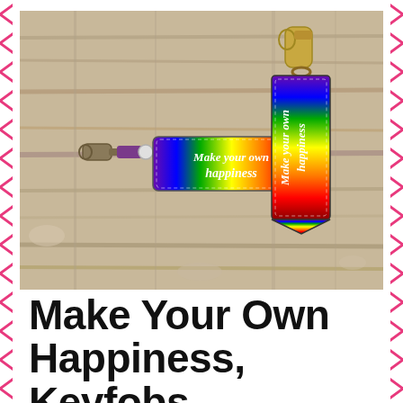[Figure (photo): Two rainbow-colored keyfobs on a rustic white wood background. One is a horizontal snap-tab style keychain with a lobster clasp and white snap button, reading 'Make your own happiness' in white script on a rainbow gradient fabric. The other is a vertical banner/flag-shaped charm attached to a gold lobster clasp and swivel ring, also reading 'Make your own happiness' in white script on a rainbow gradient fabric.]
Make Your Own Happiness, Keyfobs,